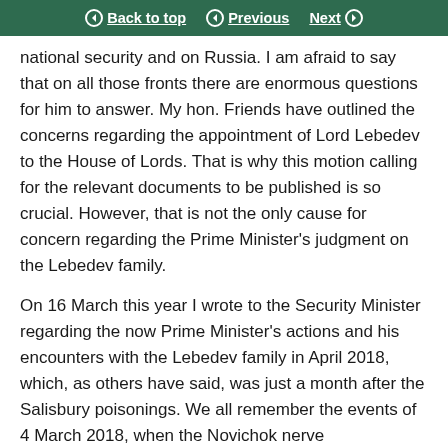Back to top  Previous  Next
national security and on Russia. I am afraid to say that on all those fronts there are enormous questions for him to answer. My hon. Friends have outlined the concerns regarding the appointment of Lord Lebedev to the House of Lords. That is why this motion calling for the relevant documents to be published is so crucial. However, that is not the only cause for concern regarding the Prime Minister's judgment on the Lebedev family.
On 16 March this year I wrote to the Security Minister regarding the now Prime Minister's actions and his encounters with the Lebedev family in April 2018, which, as others have said, was just a month after the Salisbury poisonings. We all remember the events of 4 March 2018, when the Novichok nerve